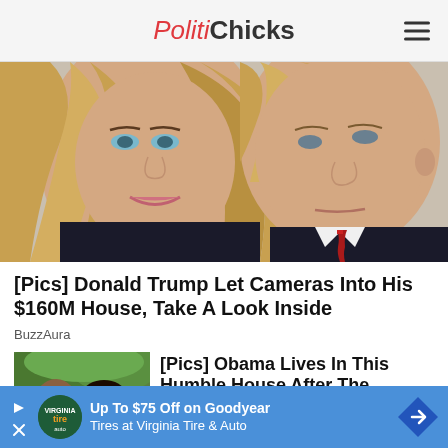PolitiChicks
[Figure (photo): Photo of Melania Trump and Donald Trump side by side, Melania on the left with long blonde hair, Donald on the right in a dark suit and red tie]
[Pics] Donald Trump Let Cameras Into His $160M House, Take A Look Inside
BuzzAura
[Figure (photo): Thumbnail photo of Barack Obama wearing sunglasses outdoors with another person]
[Pics] Obama Lives In This Humble House After The White House
Up To $75 Off on Goodyear Tires at Virginia Tire & Auto